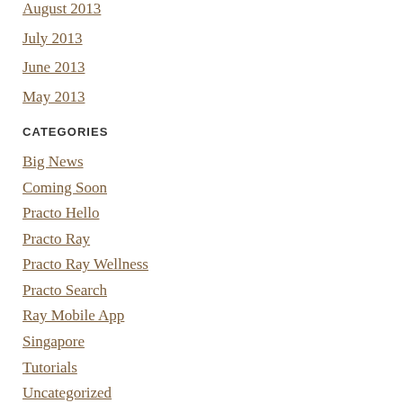August 2013
July 2013
June 2013
May 2013
CATEGORIES
Big News
Coming Soon
Practo Hello
Practo Ray
Practo Ray Wellness
Practo Search
Ray Mobile App
Singapore
Tutorials
Uncategorized
Updates